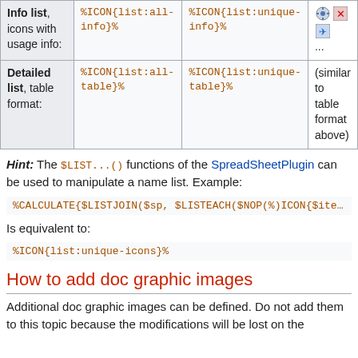|  | All | Unique | Result |
| --- | --- | --- | --- |
| Info list, icons with usage info: | %ICON{list:all-info}% | %ICON{list:unique-info}% | ... [icons] |
| Detailed list, table format: | %ICON{list:all-table}% | %ICON{list:unique-table}% | (similar to table format above) |
Hint: The $LIST...() functions of the SpreadSheetPlugin can be used to manipulate a name list. Example:
Is equivalent to:
How to add doc graphic images
Additional doc graphic images can be defined. Do not add them to this topic because the modifications will be lost on the